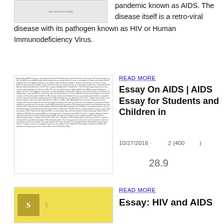pandemic known as AIDS. The disease itself is a retro-viral disease with its pathogen known as HIV or Human Immunodeficiency Virus.
[Figure (screenshot): Small thumbnail image of a document page about AIDS/HIV]
READ MORE
Essay On AIDS | AIDS Essay for Students and Children in
10/27/2018 · 2 (400 )
28.9
[Figure (screenshot): Yellow-background book/document cover image with a logo and figure illustration]
READ MORE
Essay: HIV and AIDS